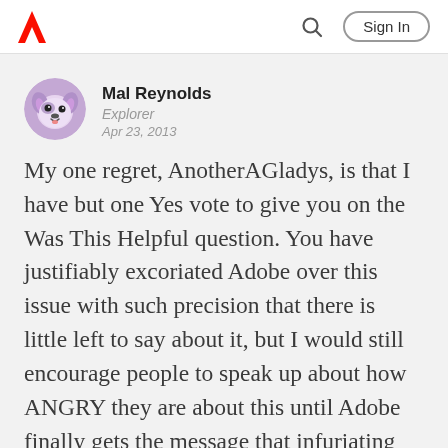Adobe | Sign In
[Figure (illustration): User avatar: illustrated dog face, purple/lavender tones, circular crop]
Mal Reynolds
Explorer
Apr 23, 2013
My one regret, AnotherAGladys, is that I have but one Yes vote to give you on the Was This Helpful question. You have justifiably excoriated Adobe over this issue with such precision that there is little left to say about it, but I would still encourage people to speak up about how ANGRY they are about this until Adobe finally gets the message that infuriating customers for a few bucks slung their way from McAlware